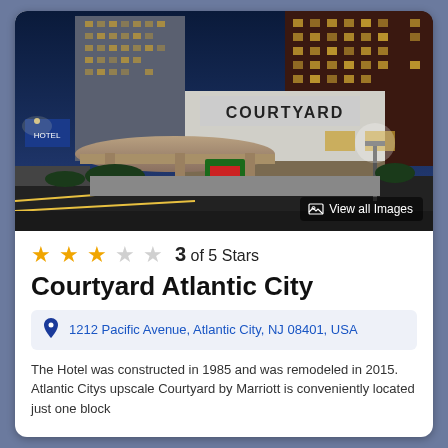[Figure (photo): Night exterior photo of Courtyard by Marriott hotel in Atlantic City, showing the illuminated hotel entrance with canopy, tall hotel towers in the background against a dark blue evening sky. A 'View all Images' button overlay is visible in the bottom right corner.]
3 of 5 Stars
Courtyard Atlantic City
1212 Pacific Avenue, Atlantic City, NJ 08401, USA
The Hotel was constructed in 1985 and was remodeled in 2015. Atlantic Citys upscale Courtyard by Marriott is conveniently located just one block